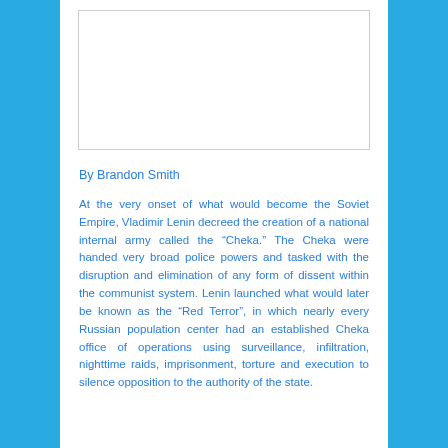[Figure (other): White rectangular image placeholder box with a thin border]
By Brandon Smith
At the very onset of what would become the Soviet Empire, Vladimir Lenin decreed the creation of a national internal army called the “Cheka.” The Cheka were handed very broad police powers and tasked with the disruption and elimination of any form of dissent within the communist system. Lenin launched what would later be known as the “Red Terror”, in which nearly every Russian population center had an established Cheka office of operations using surveillance, infiltration, nighttime raids, imprisonment, torture and execution to silence opposition to the authority of the state.